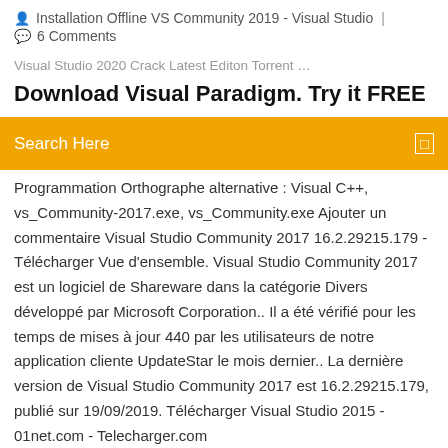Installation Offline VS Community 2019 - Visual Studio  |  6 Comments
Visual Studio 2020 Crack Latest Editon Torrent …
Download Visual Paradigm. Try it FREE
[Figure (other): Orange search bar with text 'Search Here' and a search icon on the right]
Programmation Orthographe alternative : Visual C++, vs_Community-2017.exe, vs_Community.exe Ajouter un commentaire Visual Studio Community 2017 16.2.29215.179 - Télécharger Vue d'ensemble. Visual Studio Community 2017 est un logiciel de Shareware dans la catégorie Divers développé par Microsoft Corporation.. Il a été vérifié pour les temps de mises à jour 440 par les utilisateurs de notre application cliente UpdateStar le mois dernier.. La dernière version de Visual Studio Community 2017 est 16.2.29215.179, publié sur 19/09/2019. Télécharger Visual Studio 2015 - 01net.com - Telecharger.com